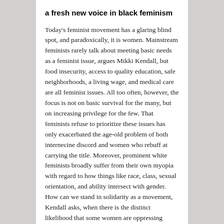a fresh new voice in black feminism
Today's feminist movement has a glaring blind spot, and paradoxically, it is women. Mainstream feminists rarely talk about meeting basic needs as a feminist issue, argues Mikki Kendall, but food insecurity, access to quality education, safe neighborhoods, a living wage, and medical care are all feminist issues. All too often, however, the focus is not on basic survival for the many, but on increasing privilege for the few. That feminists refuse to prioritize these issues has only exacerbated the age-old problem of both internecine discord and women who rebuff at carrying the title. Moreover, prominent white feminists broadly suffer from their own myopia with regard to how things like race, class, sexual orientation, and ability intersect with gender. How can we stand in solidarity as a movement, Kendall asks, when there is the distinct likelihood that some women are oppressing others?
In her searing collection of essays, Mikki